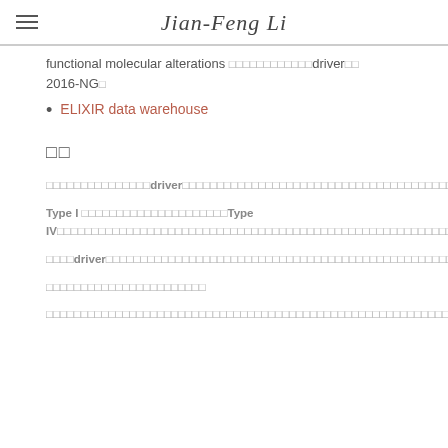Jian-Feng Li
functional molecular alterations □□□□□□□□□□□□driver□□ 2016-NG□
ELIXIR data warehouse
□□
□□□□□□□□□□□□□□□driver□□□□□□□□□□□□□□□□□□□□□□□□□□□□□□□□□□□□□□□□□□□
Type I □□□□□□□□□□□□□□□□□□□□□Type IV□□□□□□□□□□□□□□□□□□□□□□□□□□□□□□□□□□□□□□□□□□□□□□□□□□□□□□
□□□□driver□□□□□□□□□□□□□□□□□□□□□□□□□□□□□□□□□□□□□□□□□□□□□□□□□□□□□□□□□□□□□□□□□□□□□□□□□□□
□□□□□□□□□□□□□□□□□□□□□□□
□□□□□□□□□□□□□□□□□□□□□□□□□□□□□□□□□□□□□□□□□□□□□□□□□□□□□□□□□□□□□□□□□□□□□□□□□□□□□□□□□□□□□□□□□□□□□□□□□□□□□□□□□□□□□□□□□□□□□□□□□□□□□□□□□□□□□□□□